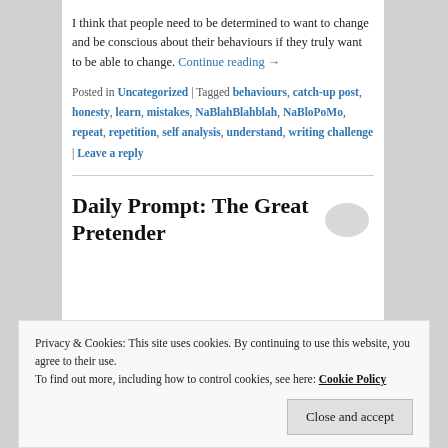I think that people need to be determined to want to change and be conscious about their behaviours if they truly want to be able to change. Continue reading →
Posted in Uncategorized | Tagged behaviours, catch-up post, honesty, learn, mistakes, NaBlahBlahblah, NaBloPoMo, repeat, repetition, self analysis, understand, writing challenge | Leave a reply
Daily Prompt: The Great Pretender
Privacy & Cookies: This site uses cookies. By continuing to use this website, you agree to their use.
To find out more, including how to control cookies, see here: Cookie Policy
Close and accept